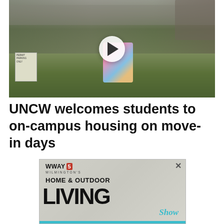[Figure (photo): Video thumbnail showing people moving in to UNCW campus housing, with a play button overlay. Students and families are visible carrying items on a grassy area near trucks.]
UNCW welcomes students to on-campus housing on move-in days
[Figure (screenshot): Advertisement for WWWAY 5 Wilmington's Home & Outdoor Living Show, with teal accent color and a close (X) button in the top right corner.]